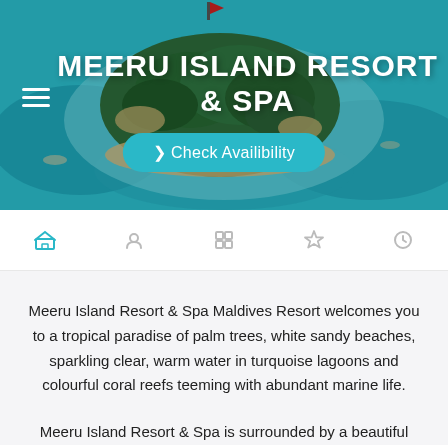[Figure (photo): Aerial photograph of Meeru Island, Maldives, showing a lush green island surrounded by turquoise lagoon waters and coral reefs, with palm trees and resort buildings visible]
MEERU ISLAND RESORT & SPA
❯ Check Availibility
[Figure (other): Navigation icon row with five icon buttons, the first one highlighted in teal/cyan color]
Meeru Island Resort & Spa Maldives Resort welcomes you to a tropical paradise of palm trees, white sandy beaches, sparkling clear, warm water in turquoise lagoons and colourful coral reefs teeming with abundant marine life.
Meeru Island Resort & Spa is surrounded by a beautiful